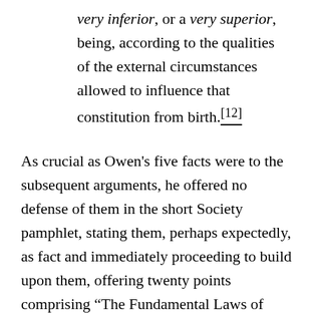very inferior, or a very superior, being, according to the qualities of the external circumstances allowed to influence that constitution from birth.[12]
As crucial as Owen's five facts were to the subsequent arguments, he offered no defense of them in the short Society pamphlet, stating them, perhaps expectedly, as fact and immediately proceeding to build upon them, offering twenty points comprising “The Fundamental Laws of Human Nature.” Here again he explained that the character of an individual was malleable according to the environment and